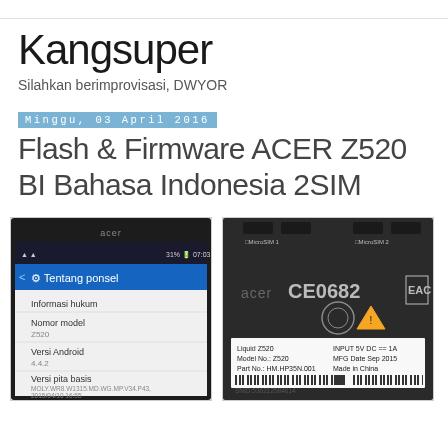Kangsuper
Silahkan berimprovisasi, DWYOR
Minggu, 03 April 2016
Flash & Firmware ACER Z520 BI Bahasa Indonesia 2SIM
[Figure (photo): Acer Z520 smartphone screen showing 'Tentang ponsel' (About phone) menu with details: Informasi hukum, Nomor model Z520, Versi Android 4.4.2, Versi pita basis MOLY.WR8.W1315.MD.WG.MP.V34.P43, 2015/04/10 16:55]
[Figure (photo): Back of Acer Liquid Z520 device showing CE0682 marking, EAC symbol, model label reading: Liquid Z520, Model No.: Z520, Part No: HM.HP35N.001, INPUT 5V DC == 1A, MFG Date Sep 2015, Made in China, SNID: 536212584614]